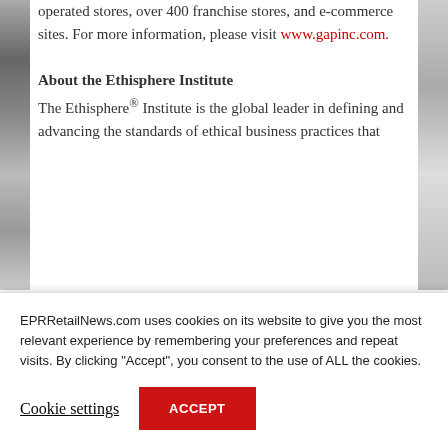through about 3,700 company-operated stores, over 400 franchise stores, and e-commerce sites. For more information, please visit www.gapinc.com.
About the Ethisphere Institute
The Ethisphere® Institute is the global leader in defining and advancing the standards of ethical business practices that
EPRRetailNews.com uses cookies on its website to give you the most relevant experience by remembering your preferences and repeat visits. By clicking "Accept", you consent to the use of ALL the cookies.
Cookie settings
ACCEPT